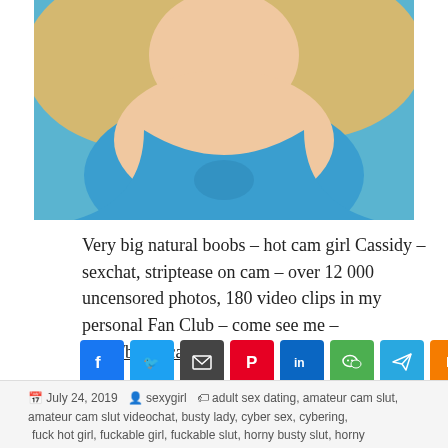[Figure (photo): Photo of a blonde woman wearing a blue top, cropped to show upper body]
Very big natural boobs – hot cam girl Cassidy – sexchat, striptease on cam – over 12 000 uncensored photos, 180 video clips in my personal Fan Club – come see me – http://bit.ly/casclub
[Figure (infographic): Social share buttons row: Facebook, Twitter, Email, Pinterest, LinkedIn, WeChat, Telegram, Blogger, Reddit, Share]
July 24, 2019  sexygirl  adult sex dating, amateur cam slut, amateur cam slut videochat, busty lady, cyber sex, cybering, fuck hot girl, fuckable girl, fuckable slut, horny busty slut, horny